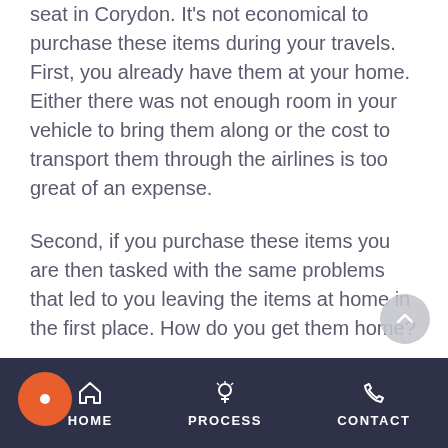seat in Corydon. It's not economical to purchase these items during your travels. First, you already have them at your home. Either there was not enough room in your vehicle to bring them along or the cost to transport them through the airlines is too great of an expense.
Second, if you purchase these items you are then tasked with the same problems that led to you leaving the items at home in the first place. How do you get them home?
This is where Babies Getaway steps in. Instead of our customers buying a new car seat for a few days, or even a week, we offer an affordable solution, baby equipment rentals. Parents can rent baby gear in Corydon. When it's time to return home you are not
Home  Process  Contact